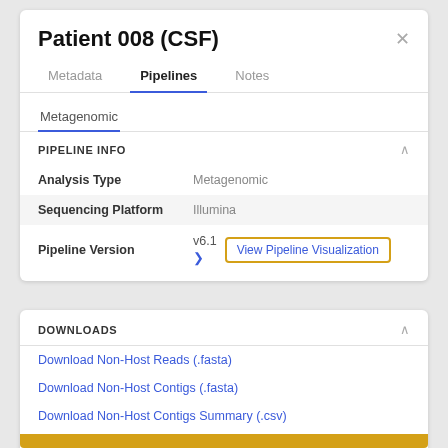Patient 008 (CSF)
Metadata   Pipelines   Notes
Metagenomic
PIPELINE INFO
| Field | Value |
| --- | --- |
| Analysis Type | Metagenomic |
| Sequencing Platform | Illumina |
| Pipeline Version | v6.1  View Pipeline Visualization |
DOWNLOADS
Download Non-Host Reads (.fasta)
Download Non-Host Contigs (.fasta)
Download Non-Host Contigs Summary (.csv)
Download Unmapped Reads (.fasta)
View Results Folder